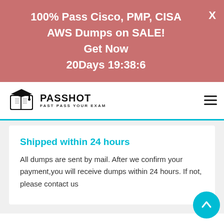100% Pass Cisco, PMP, CISA AWS Dumps on SALE! Get Now 20Days 19:38:6
[Figure (logo): Passhot logo with graduation cap and hourglass icon, text PASSHOT FAST PASS YOUR EXAM]
Shipped within 24 hours
All dumps are sent by mail. After we confirm your payment,you will receive dumps within 24 hours. If not, please contact us
PRODUCT REVIEWS   * THE MOST RECENT COMMENT ARE AT THE TOP